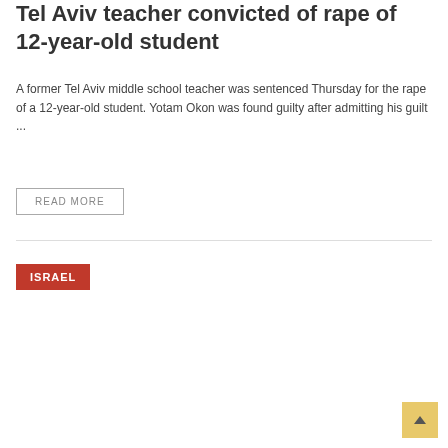Tel Aviv teacher convicted of rape of 12-year-old student
A former Tel Aviv middle school teacher was sentenced Thursday for the rape of a 12-year-old student. Yotam Okon was found guilty after admitting his guilt ...
READ MORE
ISRAEL